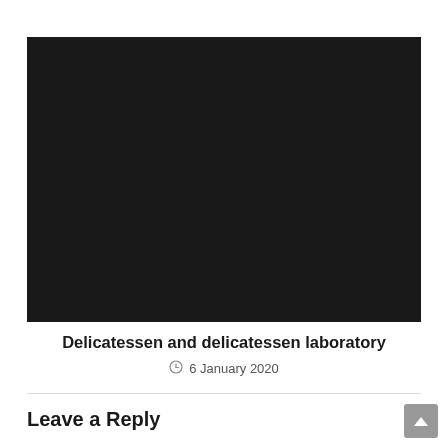[Figure (photo): Large black/dark image placeholder, nearly entirely black]
Delicatessen and delicatessen laboratory
6 January 2020
Leave a Reply